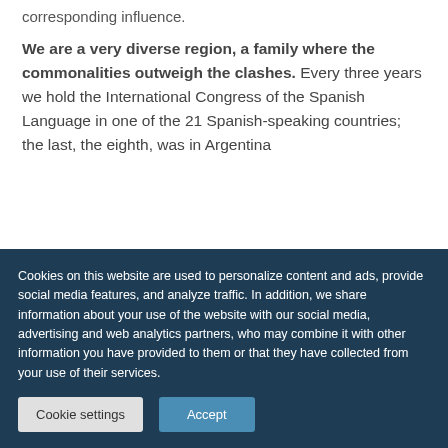corresponding influence.
We are a very diverse region, a family where the commonalities outweigh the clashes. Every three years we hold the International Congress of the Spanish Language in one of the 21 Spanish-speaking countries; the last, the eighth, was in Argentina
Cookies on this website are used to personalize content and ads, provide social media features, and analyze traffic. In addition, we share information about your use of the website with our social media, advertising and web analytics partners, who may combine it with other information you have provided to them or that they have collected from your use of their services.